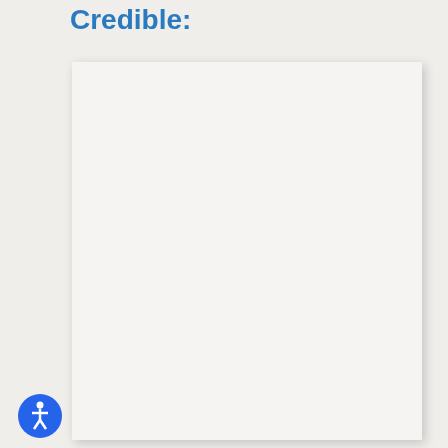Credible:
[Figure (other): A blank document card/panel with light background and subtle shadow, partially visible on screen]
[Figure (other): Accessibility icon button — blue circle with white human figure (wheelchair accessible person icon)]